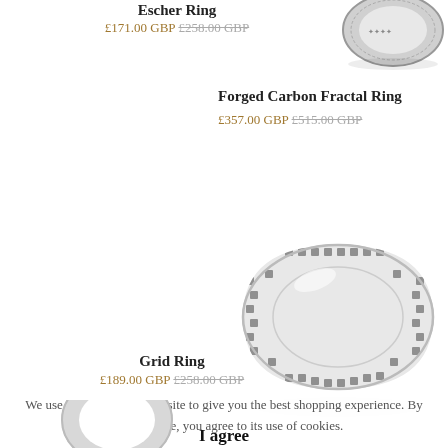Escher Ring
£171.00 GBP £258.00 GBP
[Figure (photo): Silver ring with decorative Escher pattern, top-right corner, partially cropped]
Forged Carbon Fractal Ring
£357.00 GBP £515.00 GBP
[Figure (photo): White ceramic or silver ring with grid/lattice pattern, center-right of page]
Grid Ring
£189.00 GBP £258.00 GBP
We use cookies on our website to give you the best shopping experience. By using this site, you agree to its use of cookies.
I agree
[Figure (photo): Partial ring image at bottom left, mostly cropped]